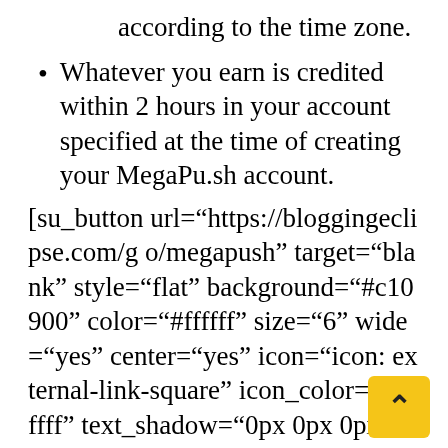according to the time zone.
Whatever you earn is credited within 2 hours in your account specified at the time of creating your MegaPu.sh account.
[su_button url="https://bloggingeclipse.com/go/megapush" target="blank" style="flat" background="#c10900" color="#ffffff" size="6" wide="yes" center="yes" icon="icon: external-link-square" icon_color="#ffffff" text_shadow="0px 0px 0px #ffffff"